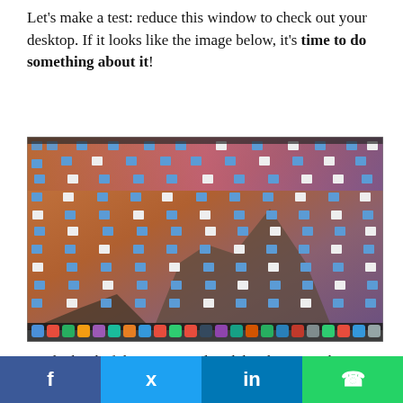Let's make a test: reduce this window to check out your desktop. If it looks like the image below, it's time to do something about it!
[Figure (screenshot): A Mac OS X desktop (Yosemite) completely cluttered with hundreds of folder and file icons covering the entire screen, with a colorful wallpaper barely visible underneath.]
It's the kind of things we tend to delay, but it can have a great impact. Like a for a real desk, having a clear desktop improves your organisation and removes